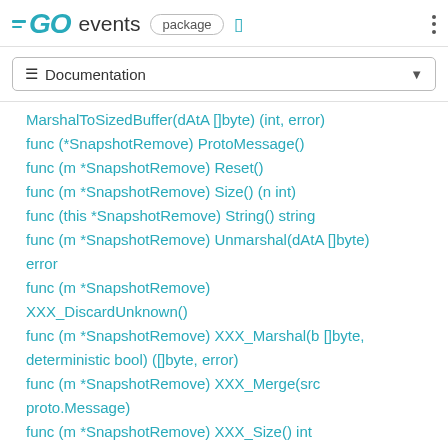GO events package
Documentation
MarshalToSizedBuffer(dAtA []byte) (int, error)
func (*SnapshotRemove) ProtoMessage()
func (m *SnapshotRemove) Reset()
func (m *SnapshotRemove) Size() (n int)
func (this *SnapshotRemove) String() string
func (m *SnapshotRemove) Unmarshal(dAtA []byte) error
func (m *SnapshotRemove) XXX_DiscardUnknown()
func (m *SnapshotRemove) XXX_Marshal(b []byte, deterministic bool) ([]byte, error)
func (m *SnapshotRemove) XXX_Merge(src proto.Message)
func (m *SnapshotRemove) XXX_Size() int
func (m *SnapshotRemove) XXX_Unmarshal(b